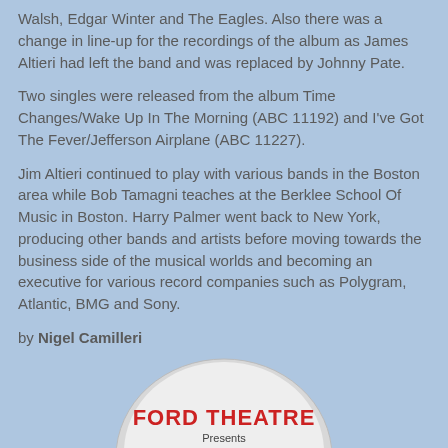Walsh, Edgar Winter and The Eagles. Also there was a change in line-up for the recordings of the album as James Altieri had left the band and was replaced by Johnny Pate.
Two singles were released from the album Time Changes/Wake Up In The Morning (ABC 11192) and I've Got The Fever/Jefferson Airplane (ABC 11227).
Jim Altieri continued to play with various bands in the Boston area while Bob Tamagni teaches at the Berklee School Of Music in Boston. Harry Palmer went back to New York, producing other bands and artists before moving towards the business side of the musical worlds and becoming an executive for various record companies such as Polygram, Atlantic, BMG and Sony.
by Nigel Camilleri
[Figure (photo): A circular album cover for Ford Theatre Presents, showing the text FORD THEATRE in red and Presents in smaller text, with a group photo of band members holding colorful umbrellas on a white/grey background.]